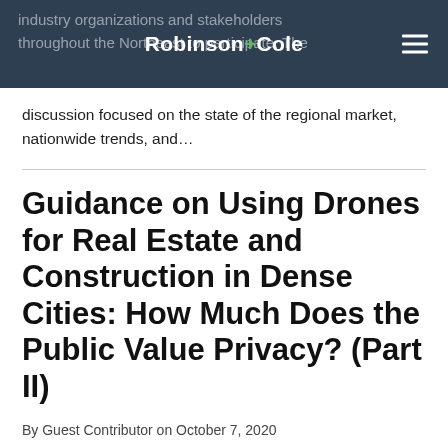Robinson+Cole
industry organizations and stakeholders throughout the Northeast to participate. The discussion focused on the state of the regional market, nationwide trends, and...
Guidance on Using Drones for Real Estate and Construction in Dense Cities: How Much Does the Public Value Privacy? (Part II)
By Guest Contributor on October 7, 2020